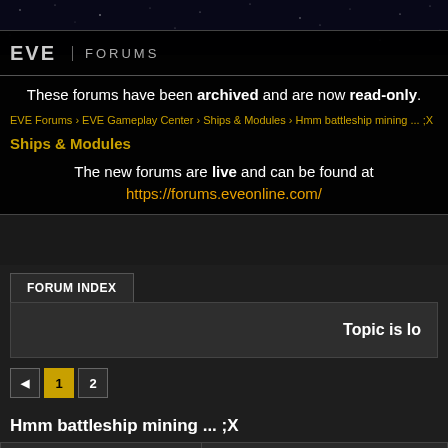EVE Forums - archived banner
These forums have been archived and are now read-only.
EVE Forums > EVE Gameplay Center > Ships & Modules > Hmm battleship mining ... ;X
Ships & Modules
The new forums are live and can be found at https://forums.eveonline.com/
FORUM INDEX
Topic is lo
1 2
Hmm battleship mining ... ;X
| Author |  |
| --- | --- |
| [avatar] | #21 - 2014-03-20 21:23:29 UTC
You have a weird definition of "Max Boo cycle time to... around 40 seconds. |